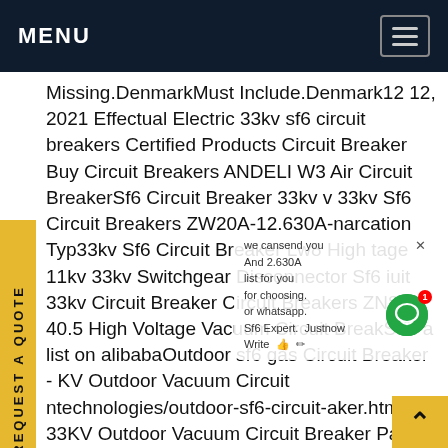MENU
Missing.DenmarkMust Include.Denmark12 12, 2021 Effectual Electric 33kv sf6 circuit breakers Certified Products Circuit Breaker Buy Circuit Breakers ANDELI W3 Air Circuit BreakerSf6 Circuit Breaker 33kv v 33kv Sf6 Circuit Breakers ZW20A-12.630A-narcation Typ33kv Sf6 Circuit Breaker Lw8 High tage 11kv 33kv Switchgear Disconnector Sf6 iuit 33kv Circuit Breaker Circuit Breakers ZN85-v 40.5 High Voltage Vacuum Circuit BreakSee a list on alibabaOutdoor sf6 gas Circuit Breaker - KV Outdoor Vacuum Circuit ntechnologies/outdoor-sf6-circuit-aker.htmlOur 33KV Outdoor Vacuum Circuit Breaker Panel comes with reliability, performance, maintenance free and long life. We have Outdoor VCB Breaker in two ranges: 11 KV Outdoor Vacuum
[Figure (screenshot): Yellow vertical 'REQUEST A QUOTE' sidebar button on left side of page]
[Figure (screenshot): Live chat popup overlay with text 'we cansend you And 2.630A list for you for choosing. or whatsapp. Sf6 Expert. Justnow Write' with green chat button and badge '1']
[Figure (screenshot): Yellow scroll-to-top button with upward chevron arrow in bottom-right corner]